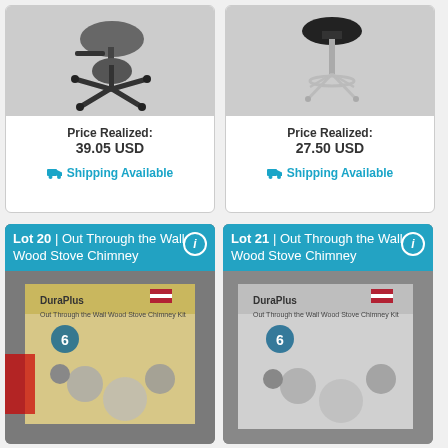[Figure (photo): Black adjustable office chair on wheels, photographed from the side]
Price Realized:
39.05 USD
🚚 Shipping Available
[Figure (photo): Black cushioned stool with chrome base and circular foot rest ring]
Price Realized:
27.50 USD
🚚 Shipping Available
Lot 20 | Out Through the Wall Wood Stove Chimney
[Figure (photo): DuraPlus Out Through the Wall Wood Stove Chimney Kit box with chimney components visible]
Lot 21 | Out Through the Wall Wood Stove Chimney
[Figure (photo): DuraPlus Out Through the Wall Wood Stove Chimney Kit box with chimney components visible]